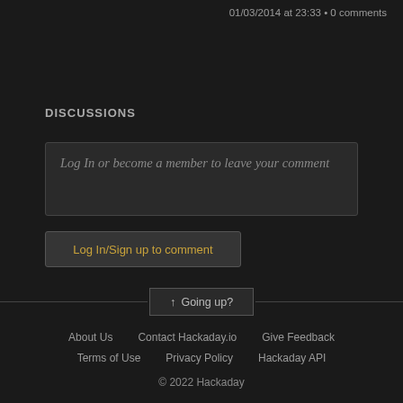01/03/2014 at 23:33 • 0 comments
DISCUSSIONS
Log In or become a member to leave your comment
Log In/Sign up to comment
↑ Going up?
About Us   Contact Hackaday.io   Give Feedback   Terms of Use   Privacy Policy   Hackaday API
© 2022 Hackaday